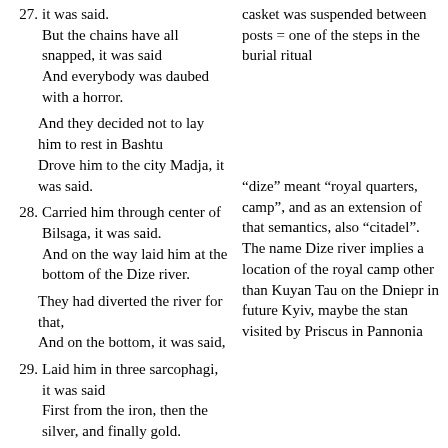suspended between posts, it was said.
But the chains have all snapped, it was said
And everybody was daubed with a horror.
casket was suspended between posts = one of the steps in the burial ritual
And they decided not to lay him to rest in Bashtu
Drove him to the city Madja, it was said.
Carried him through center of Bilsaga, it was said.
And on the way laid him at the bottom of the Dize river.
“dize” meant “royal quarters, camp”, and as an extension of that semantics, also “citadel”. The name Dize river implies a location of the royal camp other than Kuyan Tau on the Dniepr in future Kyiv, maybe the stan visited by Priscus in Pannonia
They had diverted the river for that,
And on the bottom, it was said,
Laid him in three sarcophagi, it was said
First from the iron, then the silver, and finally gold.
Nobody would ever get to